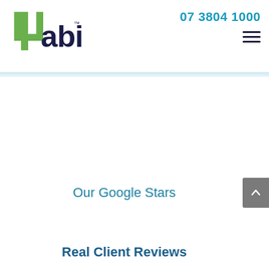[Figure (logo): 4abis company logo with green number 4 and dark navy blue text 'abis' with superscript trademark symbol]
07 3804 1000
Our Google Stars
Real Client Reviews